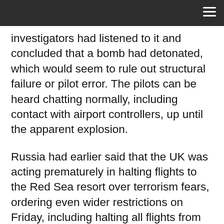investigators had listened to it and concluded that a bomb had detonated, which would seem to rule out structural failure or pilot error. The pilots can be heard chatting normally, including contact with airport controllers, up until the apparent explosion.
Russia had earlier said that the UK was acting prematurely in halting flights to the Red Sea resort over terrorism fears, ordering even wider restrictions on Friday, including halting all flights from Cairo.
Meanwhile, the US announced new security